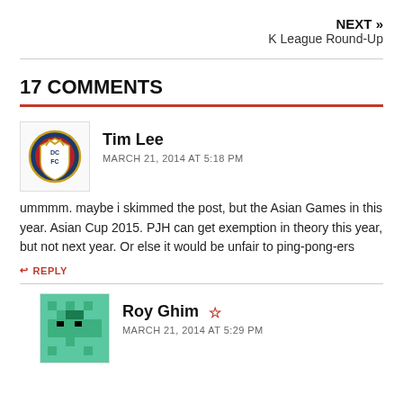NEXT » K League Round-Up
17 COMMENTS
Tim Lee
MARCH 21, 2014 AT 5:18 PM
ummmm. maybe i skimmed the post, but the Asian Games in this year. Asian Cup 2015. PJH can get exemption in theory this year, but not next year. Or else it would be unfair to ping-pong-ers
↩ REPLY
Roy Ghim ☆
MARCH 21, 2014 AT 5:29 PM